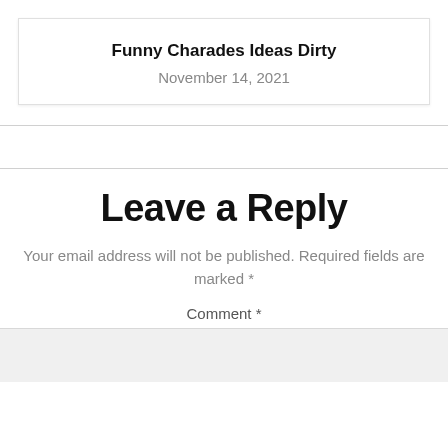Funny Charades Ideas Dirty
November 14, 2021
Leave a Reply
Your email address will not be published. Required fields are marked *
Comment *